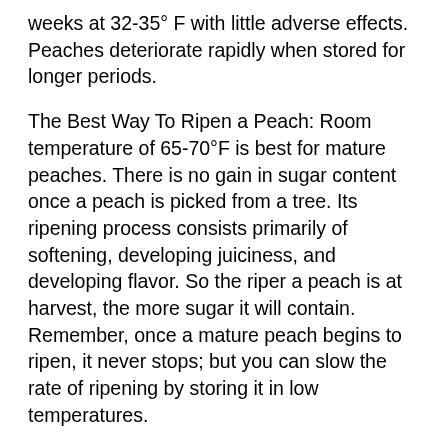weeks at 32-35° F with little adverse effects. Peaches deteriorate rapidly when stored for longer periods.
The Best Way To Ripen a Peach: Room temperature of 65-70°F is best for mature peaches. There is no gain in sugar content once a peach is picked from a tree. Its ripening process consists primarily of softening, developing juiciness, and developing flavor. So the riper a peach is at harvest, the more sugar it will contain. Remember, once a mature peach begins to ripen, it never stops; but you can slow the rate of ripening by storing it in low temperatures.
The Best Way To Prepare a Peach: wash peaches gently, peel, and remove pits. Handle carefully to avoid bruising. To peel a peach, dip it in boiling water for 30 seconds, then in cold water. The peel should slide off easily. To keep sliced peaches from darkening, dip in lemon juice or ascorbic acid.